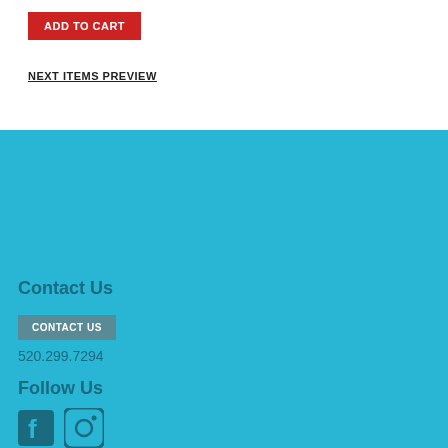ADD TO CART
NEXT ITEMS PREVIEW
Contact Us
CONTACT US
520.299.7294
Follow Us
[Figure (illustration): Facebook and Instagram social media icons]
Home
About Us
SAWG Gallery
The Plaza at Williams Centre
5420 E Broadway Blvd Ste # 240
Tucson, AZ 85711-3725
Mailing list